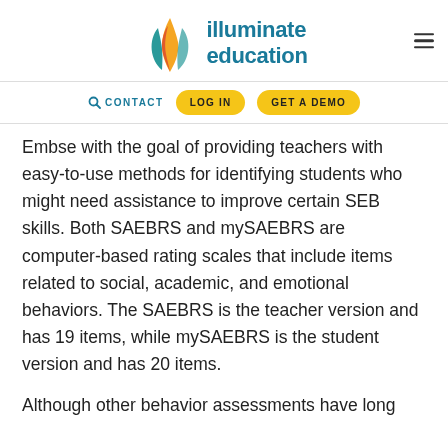[Figure (logo): Illuminate Education logo with flame icon in orange, red, and teal colors, and teal text reading 'illuminate education']
CONTACT  LOG IN  GET A DEMO
Embse with the goal of providing teachers with easy-to-use methods for identifying students who might need assistance to improve certain SEB skills. Both SAEBRS and mySAEBRS are computer-based rating scales that include items related to social, academic, and emotional behaviors. The SAEBRS is the teacher version and has 19 items, while mySAEBRS is the student version and has 20 items.
Although other behavior assessments have long